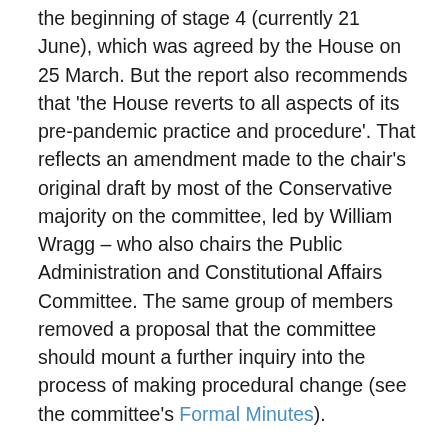the beginning of stage 4 (currently 21 June), which was agreed by the House on 25 March. But the report also recommends that 'the House reverts to all aspects of its pre-pandemic practice and procedure'. That reflects an amendment made to the chair's original draft by most of the Conservative majority on the committee, led by William Wragg – who also chairs the Public Administration and Constitutional Affairs Committee. The same group of members removed a proposal that the committee should mount a further inquiry into the process of making procedural change (see the committee's Formal Minutes).
On Thursday 25 March the motion to renew the orders until 21 June was debated as part of a much wider debate on coronavirus regulations and the six-monthly renewal of the Coronavirus Act. The issue of the House's procedures